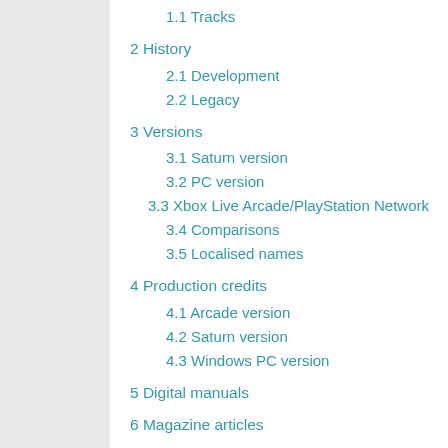1.1 Tracks
2 History
2.1 Development
2.2 Legacy
3 Versions
3.1 Saturn version
3.2 PC version
3.3 Xbox Live Arcade/PlayStation Network
3.4 Comparisons
3.5 Localised names
4 Production credits
4.1 Arcade version
4.2 Saturn version
4.3 Windows PC version
5 Digital manuals
6 Magazine articles
7 Promotional material